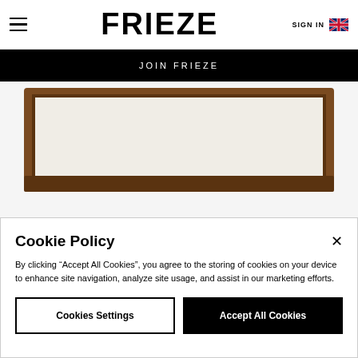FRIEZE | SIGN IN
JOIN FRIEZE
[Figure (photo): Framed artwork with wooden/leather border, white canvas, shown partially cropped at top of page]
FRANZ WEST
Cookie Policy
By clicking "Accept All Cookies", you agree to the storing of cookies on your device to enhance site navigation, analyze site usage, and assist in our marketing efforts.
Cookies Settings | Accept All Cookies